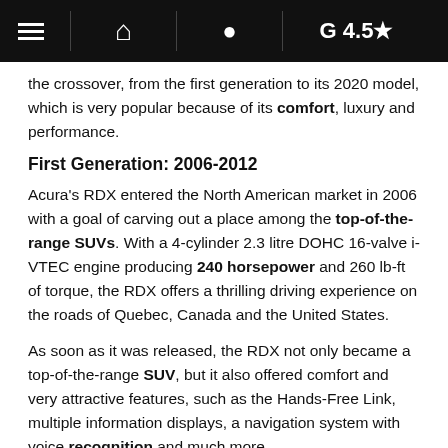☰  🏢  📍  G 4.5★
the crossover, from the first generation to its 2020 model, which is very popular because of its comfort, luxury and performance.
First Generation: 2006-2012
Acura's RDX entered the North American market in 2006 with a goal of carving out a place among the top-of-the-range SUVs. With a 4-cylinder 2.3 litre DOHC 16-valve i-VTEC engine producing 240 horsepower and 260 lb-ft of torque, the RDX offers a thrilling driving experience on the roads of Quebec, Canada and the United States.
As soon as it was released, the RDX not only became a top-of-the-range SUV, but it also offered comfort and very attractive features, such as the Hands-Free Link, multiple information displays, a navigation system with voice recognition and much more.
Initially equipped only with Super Handling All-Wheel Drive (SH-AWD), a front-wheel drive version was added in 2010.